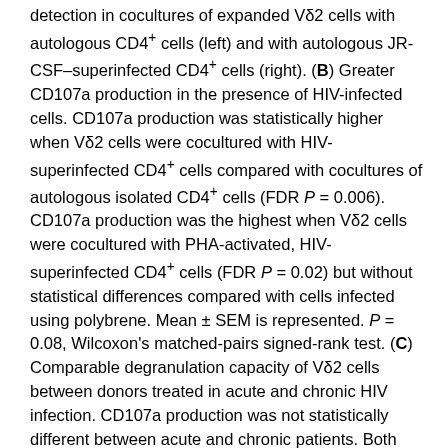detection in cocultures of expanded Vδ2 cells with autologous CD4+ cells (left) and with autologous JR-CSF–superinfected CD4+ cells (right). (B) Greater CD107a production in the presence of HIV-infected cells. CD107a production was statistically higher when Vδ2 cells were cocultured with HIV-superinfected CD4+ cells compared with cocultures of autologous isolated CD4+ cells (FDR P = 0.006). CD107a production was the highest when Vδ2 cells were cocultured with PHA-activated, HIV-superinfected CD4+ cells (FDR P = 0.02) but without statistical differences compared with cells infected using polybrene. Mean ± SEM is represented. P = 0.08, Wilcoxon's matched-pairs signed-rank test. (C) Comparable degranulation capacity of Vδ2 cells between donors treated in acute and chronic HIV infection. CD107a production was not statistically different between acute and chronic patients. Both groups of patients showed statistically higher CD107a expression in cocultures of Vδ2 cells and superinfected CD4+ target cells than in cultures